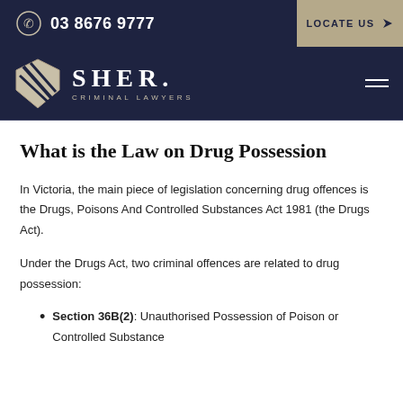03 8676 9777  LOCATE US
[Figure (logo): Sher Criminal Lawyers logo with shield icon and wordmark]
What is the Law on Drug Possession
In Victoria, the main piece of legislation concerning drug offences is the Drugs, Poisons And Controlled Substances Act 1981 (the Drugs Act).
Under the Drugs Act, two criminal offences are related to drug possession:
Section 36B(2): Unauthorised Possession of Poison or Controlled Substance